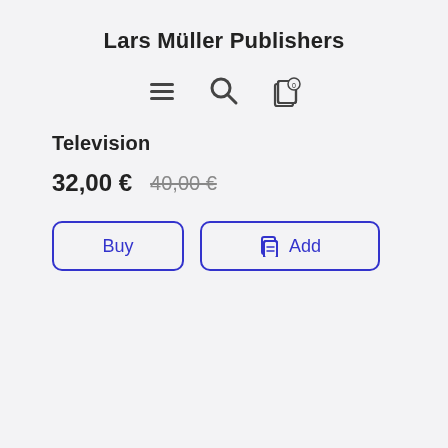Lars Müller Publishers
[Figure (infographic): Navigation icons: hamburger menu, search magnifier, and cart/stack icon with badge showing 0]
Television
32,00 €  40,00 €
Buy  Add